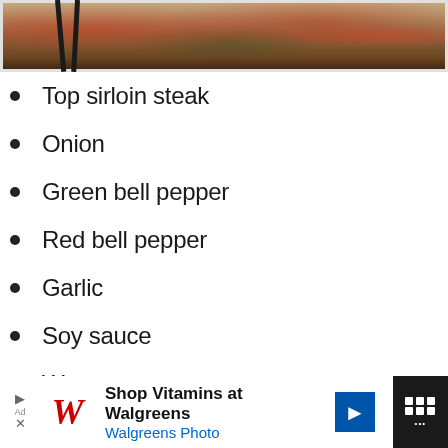[Figure (photo): Partial view of a bowl of stir-fry dish with meat and red and green bell peppers, with chopsticks resting on the bowl, on a white marble background]
Top sirloin steak
Onion
Green bell pepper
Red bell pepper
Garlic
Soy sauce
Water
Brown sugar
Shop Vitamins at Walgreens | Walgreens Photo